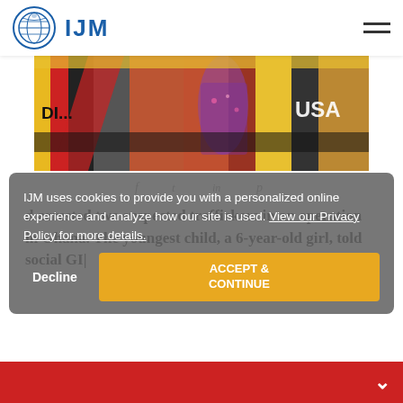IJM
[Figure (photo): Person in colorful dress near painted bus/vehicle with yellow and red stripes, text 'DI...' and 'USA' visible]
f  t  in  p
IJM uses cookies to provide you with a personalized online experience and analyze how our site is used. View our Privacy Policy for more details.
Decline    ACCEPT & CONTINUE
d arrested two suspected traffickers in an operation in Ghana. The youngest child, a 6-year-old girl, told social GI|